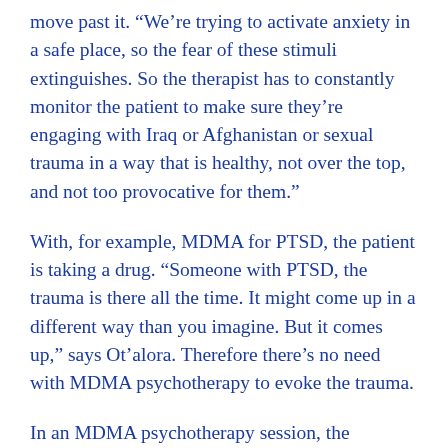move past it. “We’re trying to activate anxiety in a safe place, so the fear of these stimuli extinguishes. So the therapist has to constantly monitor the patient to make sure they’re engaging with Iraq or Afghanistan or sexual trauma in a way that is healthy, not over the top, and not too provocative for them.”
With, for example, MDMA for PTSD, the patient is taking a drug. “Someone with PTSD, the trauma is there all the time. It might come up in a different way than you imagine. But it comes up,” says Ot’alora. Therefore there’s no need with MDMA psychotherapy to evoke the trauma.
In an MDMA psychotherapy session, the therapists work in a controlled, therapeutic environment, but